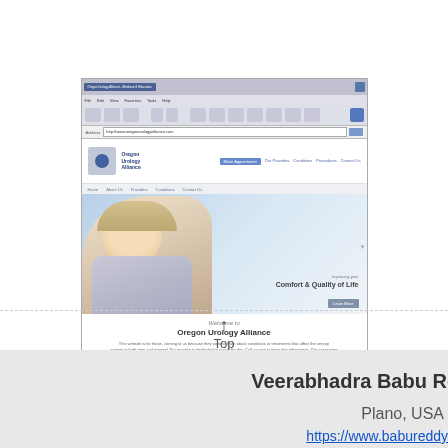[Figure (screenshot): Screenshot of Oregon Urology Alliance website showing browser interface with a hero image of a smiling woman and text 'Welcome to Oregon Urology Alliance']
Top
Veerabhadra Babu Re
Plano, USA
https://www.babureddy